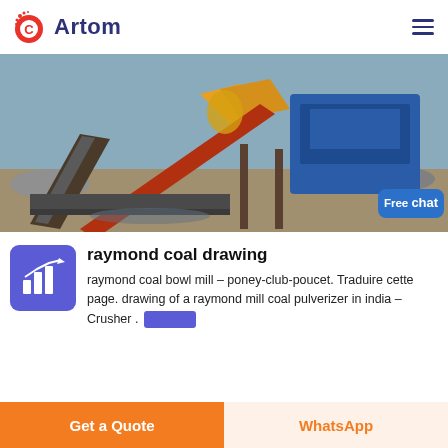Artom
[Figure (photo): Industrial mining/crushing machinery with conveyor belts and blue equipment, photographed outdoors at a construction/mining site. A 'Free chat' button overlay appears in the bottom right of the image with a customer service representative illustration.]
[Figure (logo): Purple square icon with white bar chart and trend arrow (up-right)]
raymond coal drawing
raymond coal bowl mill – poney-club-poucet. Traduire cette page. drawing of a raymond mill coal pulverizer in india – Crusher .
Get a Quote | WhatsApp